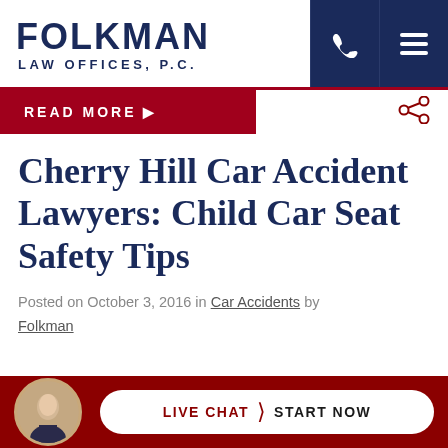FOLKMAN LAW OFFICES, P.C.
READ MORE ▶
Cherry Hill Car Accident Lawyers: Child Car Seat Safety Tips
Posted on October 3, 2016 in Car Accidents by Folkman
LIVE CHAT  START NOW